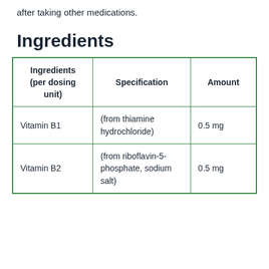after taking other medications.
Ingredients
| Ingredients (per dosing unit) | Specification | Amount |
| --- | --- | --- |
| Vitamin B1 | (from thiamine hydrochloride) | 0.5 mg |
| Vitamin B2 | (from riboflavin-5-phosphate, sodium salt) | 0.5 mg |